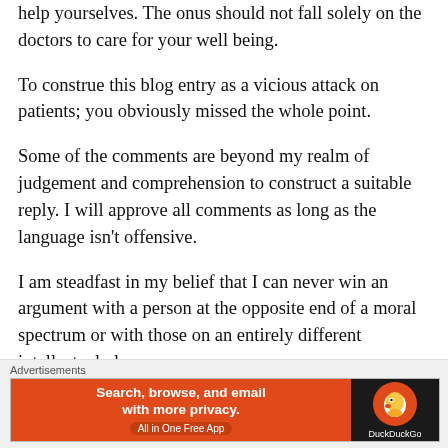help yourselves. The onus should not fall solely on the doctors to care for your well being.
To construe this blog entry as a vicious attack on patients; you obviously missed the whole point.
Some of the comments are beyond my realm of judgement and comprehension to construct a suitable reply. I will approve all comments as long as the language isn't offensive.
I am steadfast in my belief that I can never win an argument with a person at the opposite end of a moral spectrum or with those on an entirely different intellectual plane.
[Figure (infographic): DuckDuckGo advertisement banner: orange left section with text 'Search, browse, and email with more privacy. All in One Free App' and dark right section with DuckDuckGo logo and name.]
Advertisements